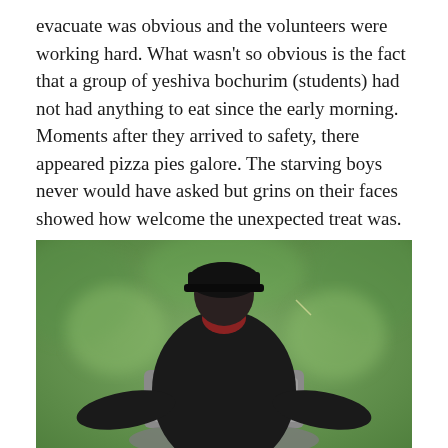evacuate was obvious and the volunteers were working hard. What wasn't so obvious is the fact that a group of yeshiva bochurim (students) had not had anything to eat since the early morning. Moments after they arrived to safety, there appeared pizza pies galore. The starving boys never would have asked but grins on their faces showed how welcome the unexpected treat was.
[Figure (photo): Back view of a person wearing a black cap and black jacket seated in a chair with grey headrests, with a blurred green outdoor background.]